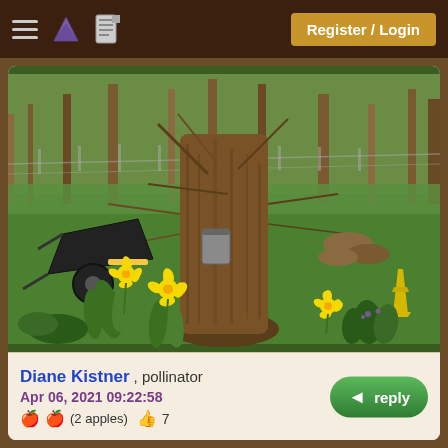Register / Login
[Figure (photo): Garden scene with a large tree trunk in the center, daffodils blooming at the base, a black wheelbarrow on the left, green grass, bare shrubs and trees in the background, a yellow cone on the right side.]
Diane Kistner , pollinator
Apr 06, 2021 09:22:58
(2 apples)  7